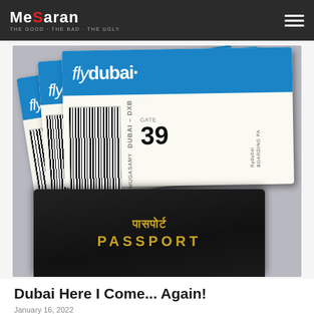MeSaran — THE GOOD · THE BAD · THE UGLY
[Figure (photo): Photo of two flydubai airline boarding passes fanned out above a dark navy/black Indian passport with gold text reading 'पासपोर्ट PASSPORT'. The boarding passes show barcodes, route DUBAI-DXB, Gate 39, and passenger name ARUMUGASAMY.]
Dubai Here I Come... Again!
January 16, 2022